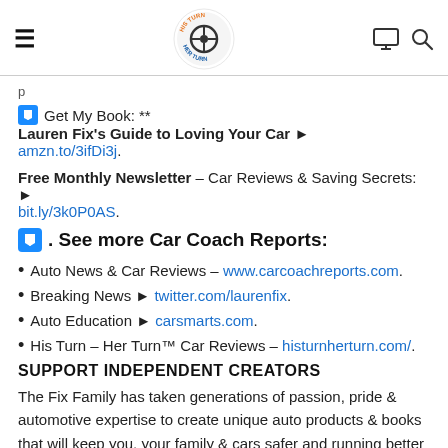His Turn Her Turn logo with hamburger menu, monitor icon, and search icon
p
⬇ Get My Book: ** Lauren Fix's Guide to Loving Your Car ► amzn.to/3ifDi3j.
Free Monthly Newsletter – Car Reviews & Saving Secrets: ► bit.ly/3k0P0AS.
⬇. See more Car Coach Reports:
Auto News & Car Reviews – www.carcoachreports.com.
Breaking News ► twitter.com/laurenfix.
Auto Education ► carsmarts.com.
His Turn – Her Turn™ Car Reviews – histurnherturn.com/.
SUPPORT INDEPENDENT CREATORS
The Fix Family has taken generations of passion, pride & automotive expertise to create unique auto products & books that will keep you, your family & cars safer and running better for years to come.